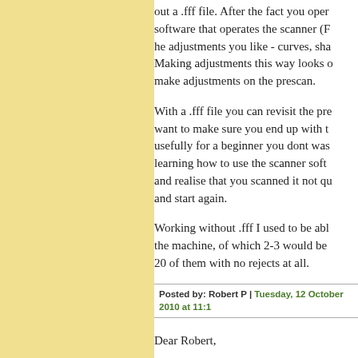out a .fff file. After the fact you open the software that operates the scanner (F... he adjustments you like - curves, sha... Making adjustments this way looks e... make adjustments on the prescan.
With a .fff file you can revisit the pre... want to make sure you end up with t... usefully for a beginner you dont was... learning how to use the scanner soft... and realise that you scanned it not qu... and start again.
Working without .fff I used to be abl... the machine, of which 2-3 would be... 20 of them with no rejects at all.
Posted by: Robert P | Tuesday, 12 October 2010 at 11:1
Dear Robert,